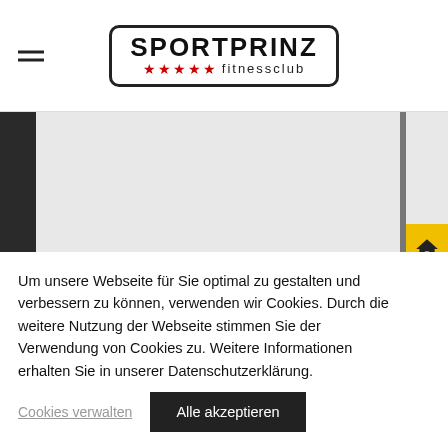SPORTPRINZ fitnessclub logo with hamburger menu
[Figure (photo): Hero banner image — light grey center panel with dark left and right edge strips; side navigation icons on yellow background on the right (home, clock, group, person, envelope)]
Um unsere Webseite für Sie optimal zu gestalten und verbessern zu können, verwenden wir Cookies. Durch die weitere Nutzung der Webseite stimmen Sie der Verwendung von Cookies zu. Weitere Informationen erhalten Sie in unserer Datenschutzerklärung.
Cookies verwalten
Alle akzeptieren